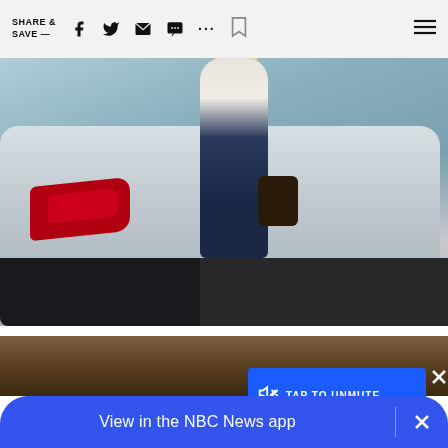SHARE & SAVE —  [social icons: facebook, twitter, email, message, more, bookmark, menu]
[Figure (photo): Blurry outdoor photo showing the rear of a white sedan with red taillights, and a person in jeans and white top standing behind the car, partially visible.]
NBC NEWS / NEWS
Driver accused of dragging woman, 78, out of cab and running over a man w
[Figure (other): TAP TO UNMUTE button overlay with blue background and speaker with X icon]
[Figure (photo): Bottom partial photo strip, appears to be sand or ground texture]
View in the NBC News app